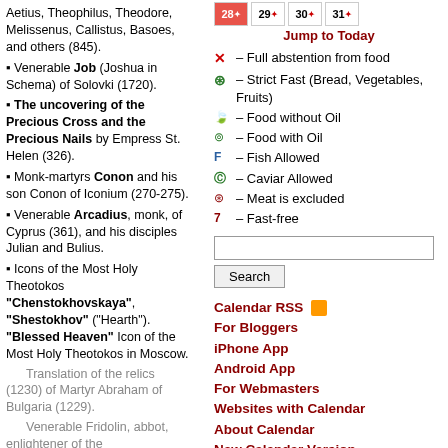Aetius, Theophilus, Theodore, Melissenus, Callistus, Basoes, and others (845).
Venerable Job (Joshua in Schema) of Solovki (1720).
The uncovering of the Precious Cross and the Precious Nails by Empress St. Helen (326).
Monk-martyrs Conon and his son Conon of Iconium (270-275).
Venerable Arcadius, monk, of Cyprus (361), and his disciples Julian and Bulius.
Icons of the Most Holy Theotokos "Chenstokhovskaya", "Shestokhov" ("Hearth"). "Blessed Heaven" Icon of the Most Holy Theotokos in Moscow.
Translation of the relics (1230) of Martyr Abraham of Bulgaria (1229).
Venerable Fridolin, abbot, enlightener of the
[Figure (other): Calendar row showing days 28, 29, 30, 31 with fasting icons]
Jump to Today
X – Full abstention from food
S – Strict Fast (Bread, Vegetables, Fruits)
leaf – Food without Oil
O – Food with Oil
F – Fish Allowed
C – Caviar Allowed
M – Meat is excluded
7 – Fast-free
Search
Calendar RSS
For Bloggers
iPhone App
Android App
For Webmasters
Websites with Calendar
About Calendar
New Calendar Version
Paschalion
Feb 07 – Sunday of the Publican and Pharisee
Feb 21 – Meatfare Sunday